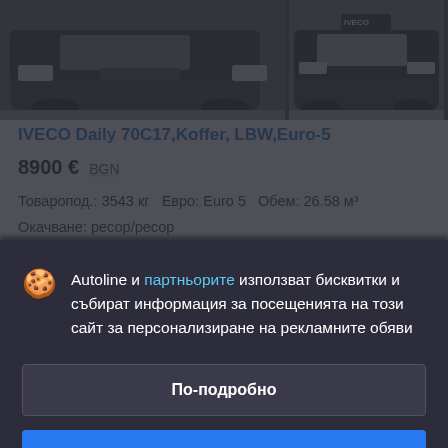[Figure (photo): Two dark-colored IVECO Daily vans photographed from the front/side, shown side by side in a vehicle listing gallery.]
IVECO Daily 70C17,Koffer, LBW,Euro-5
8900 €  BGN
Товаропод.: 3543 кг   Евро: Euro 5   Обем: 26.58 м³
Окачване: ресор/ресор
Година: 2014-07-28   Пробег: 358000 км
Autoline и партньорите използват бисквитки и събират информация за посещенията на този сайт за персонализиране на рекламните обяви
По-подробно
Съгласяване и затваряне